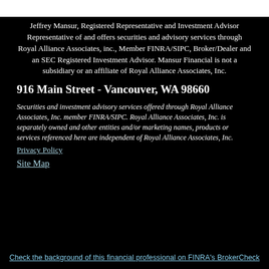Jeffrey Mansur, Registered Representative and Investment Advisor Representative of and offers securities and advisory services through Royal Alliance Associates, inc., Member FINRA/SIPC, Broker/Dealer and an SEC Registered Investment Advisor. Mansur Financial is not a subsidiary or an affiliate of Royal Alliance Associates, Inc.
916 Main Street - Vancouver, WA 98660
Securities and investment advisory services offered through Royal Alliance Associates, Inc. member FINRA/SIPC. Royal Alliance Associates, Inc. is separately owned and other entities and/or marketing names, products or services referenced here are independent of Royal Alliance Associates, Inc.
Privacy Policy
Site Map
Check the background of this financial professional on FINRA's BrokerCheck